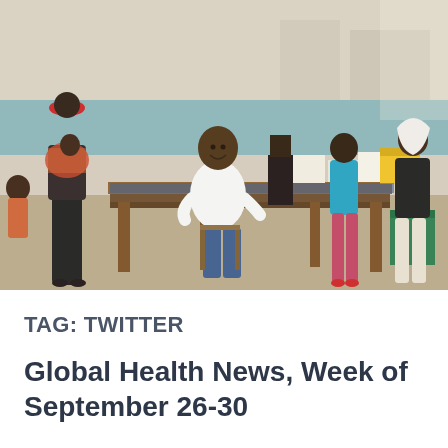[Figure (photo): A health clinic scene in Africa showing a male health worker seated at a wooden table smiling, interacting with community members including women with children. Medical supply boxes and a yellow container are visible on the table. The setting appears to be a basic health post with blue-painted walls.]
TAG: TWITTER
Global Health News, Week of September 26-30